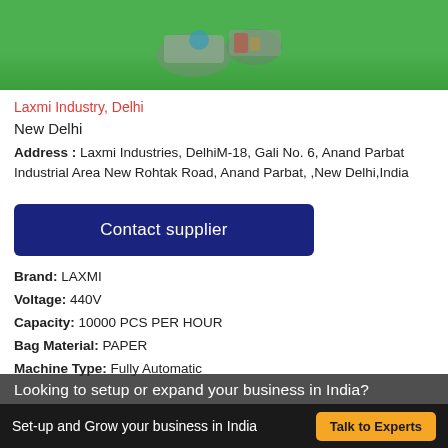[Figure (photo): Product image of a machine on green background]
Laxmi Industry, Delhi
New Delhi
Address : Laxmi Industries, DelhiM-18, Gali No. 6, Anand Parbat Industrial Area New Rohtak Road, Anand Parbat, ,New Delhi,India
Contact supplier
Brand: LAXMI
Voltage: 440V
Capacity: 10000 PCS PER HOUR
Bag Material: PAPER
Machine Type: Fully Automatic
Looking to setup or expand your business in India?
Set-up and Grow your business in India
Talk to Experts